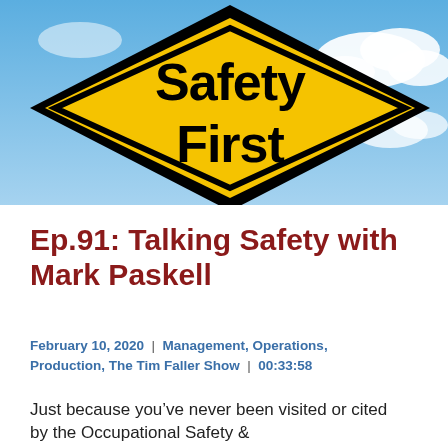[Figure (photo): A yellow diamond-shaped 'Safety First' road sign against a blue sky with white clouds]
Ep.91: Talking Safety with Mark Paskell
February 10, 2020  |  Management, Operations, Production, The Tim Faller Show  |  00:33:58
Just because you've never been visited or cited by the Occupational Safety &